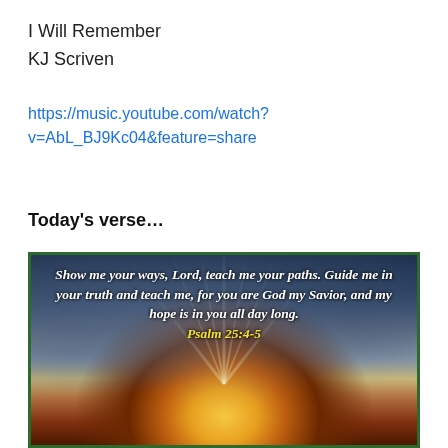I Will Remember
KJ Scriven
https://music.youtube.com/watch?v=AbL_BJ9Kc04&feature=share
Today's verse...
[Figure (photo): A dramatic sky with sunbeams breaking through dark storm clouds, with warm golden light at the horizon. Overlaid text reads: 'Show me your ways, LORD, teach me your paths. Guide me in your truth and teach me, for you are God my Savior, and my hope is in you all day long. Psalm 25:4-5']